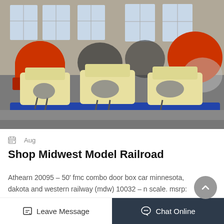[Figure (photo): Industrial warehouse interior showing large yellow machinery/mills mounted on blue platforms with chains, with red cylindrical ball mills visible in the background]
Aug
Shop Midwest Model Railroad
Athearn 20095 – 50' fmc combo door box car minnesota, dakota and western railway (mdw) 10032 – n scale. msrp: 26.98. you save 4.72.
Leave Message
Chat Online